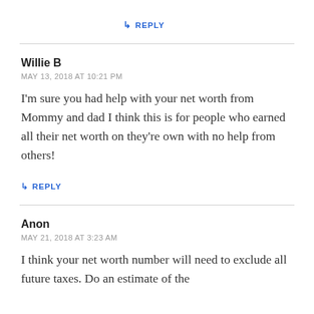↳ REPLY
Willie B
MAY 13, 2018 AT 10:21 PM
I'm sure you had help with your net worth from Mommy and dad I think this is for people who earned all their net worth on they're own with no help from others!
↳ REPLY
Anon
MAY 21, 2018 AT 3:23 AM
I think your net worth number will need to exclude all future taxes. Do an estimate of the